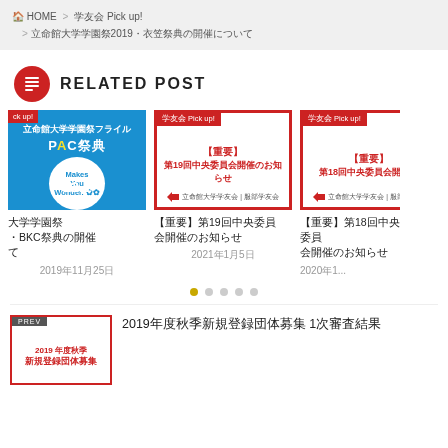HOME > 学友会 Pick up! > 立命館大学学園祭2019・衣笠祭典の開催について
RELATED POST
[Figure (screenshot): Card 1: Blue background festival card with PKC祭典 Mukes You Wonder. 12.1 SUN]
大学学園祭・BKC祭典の開催て
2019年11月25日
[Figure (screenshot): Card 2: White card with red border, 学友会 Pick up! tag, 【重要】第19回中央委員会開催のお知らせ]
【重要】第19回中央委員会開催のお知らせ
2021年1月5日
[Figure (screenshot): Card 3: White card with red border, 学友会 Pick up! tag, 【重要】第18回中央委員会開催のお知らせ (partially visible)]
【重要】第18回中央委員会開催のお知らせ (partial)
2020年1...
[Figure (screenshot): Previous post thumbnail: 2019年度秋季新規登録団体募集 in red text on orange/white background with PREV label]
2019年度秋季新規登録団体募集 1次審査結果